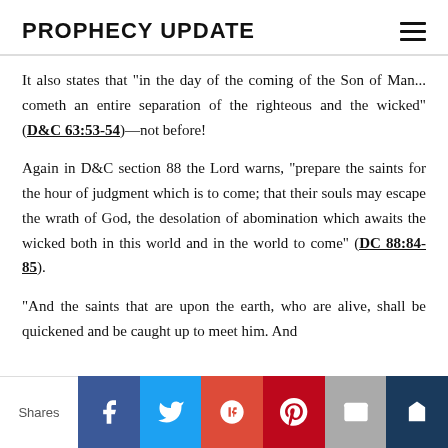PROPHECY UPDATE
It also states that "in the day of the coming of the Son of Man... cometh an entire separation of the righteous and the wicked" (D&C 63:53-54)—not before!
Again in D&C section 88 the Lord warns, "prepare the saints for the hour of judgment which is to come; that their souls may escape the wrath of God, the desolation of abomination which awaits the wicked both in this world and in the world to come" (DC 88:84-85).
"And the saints that are upon the earth, who are alive, shall be quickened and be caught up to meet him. And
Shares